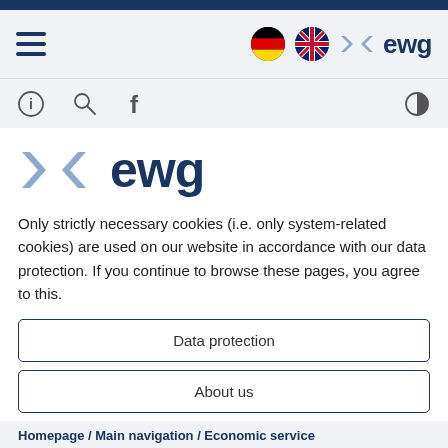[Figure (logo): Dark navy top bar stripe]
Navigation bar with hamburger menu, German flag, UK flag, EWG logo
[Figure (logo): EWG logo with chevron symbols and ewg text, large version]
Only strictly necessary cookies (i.e. only system-related cookies) are used on our website in accordance with our data protection. If you continue to browse these pages, you agree to this.
Data protection
About us
I agree
Homepage / Main navigation / Economic service